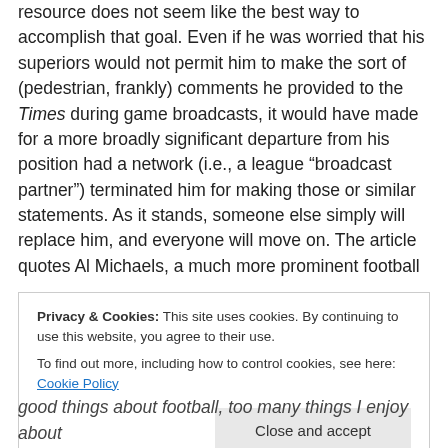resource does not seem like the best way to accomplish that goal. Even if he was worried that his superiors would not permit him to make the sort of (pedestrian, frankly) comments he provided to the Times during game broadcasts, it would have made for a more broadly significant departure from his position had a network (i.e., a league “broadcast partner”) terminated him for making those or similar statements. As it stands, someone else simply will replace him, and everyone will move on. The article quotes Al Michaels, a much more prominent football
Privacy & Cookies: This site uses cookies. By continuing to use this website, you agree to their use.
To find out more, including how to control cookies, see here: Cookie Policy
good things about football, too many things I enjoy about